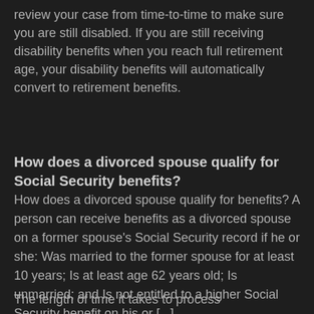review your case from time-to-time to make sure you are still disabled. If you are still receiving disability benefits when you reach full retirement age, your disability benefits will automatically convert to retirement benefits.
How does a divorced spouse qualify for Social Security benefits?
How does a divorced spouse qualify for benefits? A person can receive benefits as a divorced spouse on a former spouse's Social Security record if he or she: Was married to the former spouse for at least 10 years; Is at least age 62 years old; Is unmarried; and Is not entitled to a higher Social Security benefit on his or [...]
The length of time it takes to process